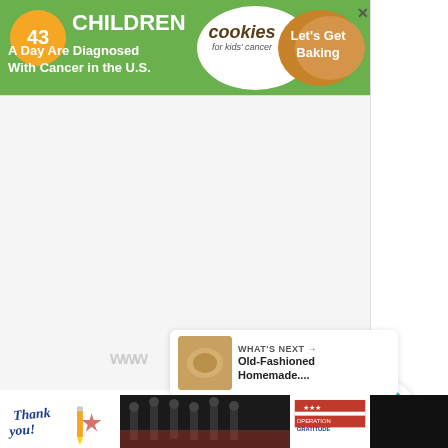[Figure (infographic): Advertisement banner: '43 CHILDREN A Day Are Diagnosed With Cancer in the U.S.' with Cookies for Kids' Cancer logo and 'Let's Get Baking' call to action on orange background]
[Figure (infographic): Main white/light gray content area - blank article body]
[Figure (infographic): Floating action panel with teal heart button, count '34', and share button]
[Figure (infographic): WHAT'S NEXT panel showing 'Old-Fashioned Homemade...' with thumbnail image]
[Figure (infographic): Bottom advertisement banner: 'Thank you!' with Operation Gratitude imagery, firefighter photo, close button, and Poultry site logo]